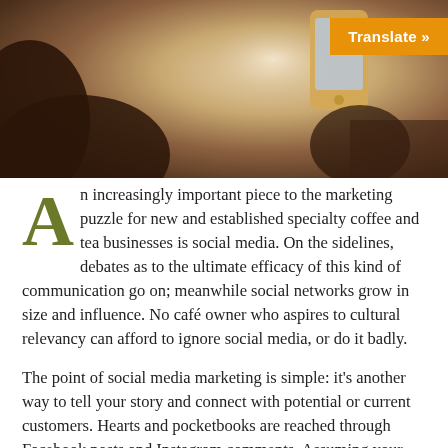[Figure (photo): Person holding a smartphone, viewed from behind/side, with a warm blurred background suggesting a café or indoor setting. An orange 'Translate »' button overlay appears in the top-right corner of the image.]
An increasingly important piece to the marketing puzzle for new and established specialty coffee and tea businesses is social media. On the sidelines, debates as to the ultimate efficacy of this kind of communication go on; meanwhile social networks grow in size and influence. No café owner who aspires to cultural relevancy can afford to ignore social media, or do it badly.
The point of social media marketing is simple: it's another way to tell your story and connect with potential or current customers. Hearts and pocketbooks are reached through Facebook posts and Instagram comments. Assuming your business has strong internal culture, vision, values, and visual aesthetic, your goal through social media should be to pull back the curtains and welcome your customers into the